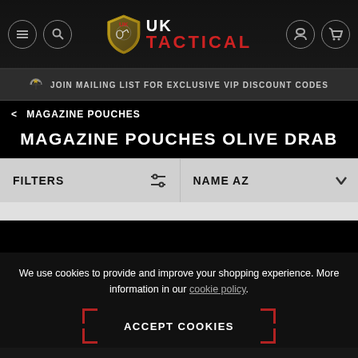[Figure (logo): UK Tactical logo with shield icon and text UK TACTICAL in header navigation bar with menu, search, account and cart icons]
JOIN MAILING LIST FOR EXCLUSIVE VIP DISCOUNT CODES
< MAGAZINE POUCHES
MAGAZINE POUCHES OLIVE DRAB
FILTERS  NAME AZ
We use cookies to provide and improve your shopping experience. More information in our cookie policy.
ACCEPT COOKIES